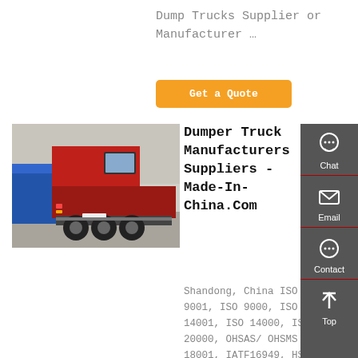Dump Trucks Supplier or Manufacturer …
[Figure (other): Orange 'Get a Quote' button]
[Figure (photo): Rear view of a red dumper/tractor truck in a yard, with blue trucks visible in the background]
Dumper Truck Manufacturers Suppliers - Made-In-China.Com
Shandong, China ISO 9001, ISO 9000, ISO 14001, ISO 14000, ISO 20000, OHSAS/ OHSMS 18001, IATF16949, HSE,